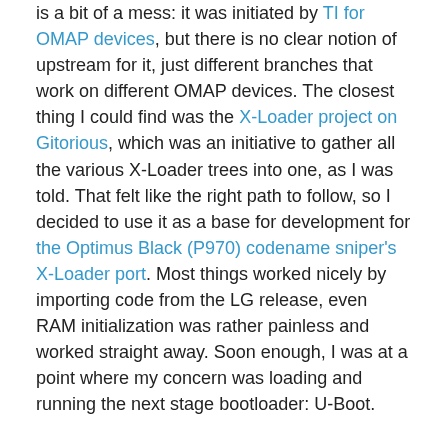is a bit of a mess: it was initiated by TI for OMAP devices, but there is no clear notion of upstream for it, just different branches that work on different OMAP devices. The closest thing I could find was the X-Loader project on Gitorious, which was an initiative to gather all the various X-Loader trees into one, as I was told. That felt like the right path to follow, so I decided to use it as a base for development for the Optimus Black (P970) codename sniper's X-Loader port. Most things worked nicely by importing code from the LG release, even RAM initialization was rather painless and worked straight away. Soon enough, I was at a point where my concern was loading and running the next stage bootloader: U-Boot.
Loading the next stage
The Optimus Black (P970)'s internal storage is eMMC. There is a partition for X-Loader and one for U-Boot too. As I wanted to keep the devices in an usable state (a